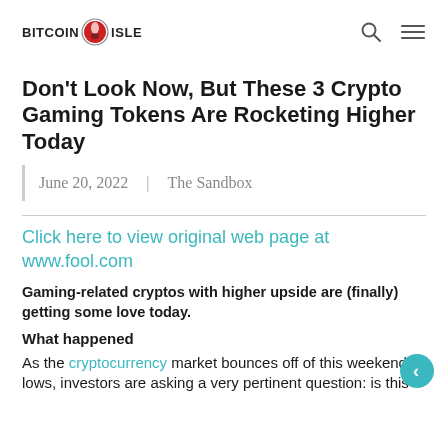BITCOIN ISLE
Don't Look Now, But These 3 Crypto Gaming Tokens Are Rocketing Higher Today
June 20, 2022  |  The Sandbox
Click here to view original web page at www.fool.com
Gaming-related cryptos with higher upside are (finally) getting some love today.
What happened
As the cryptocurrency market bounces off of this weekend's lows, investors are asking a very pertinent question: is this